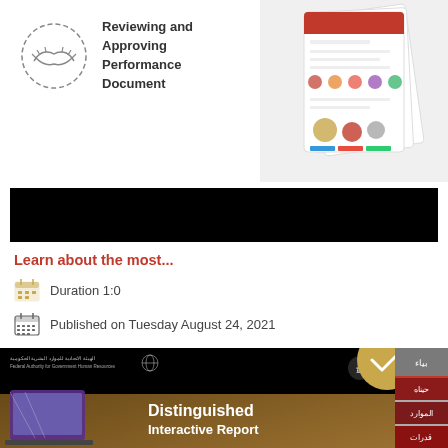[Figure (illustration): Top section with handshake icon in dashed circle, text 'Reviewing and Approving Performance Document', and a screenshot of a mobile/web application on the right side]
[Figure (other): Black banner bar]
Learn about the most...
Duration 1:0
Published on Tuesday August 24, 2021
[Figure (screenshot): Bottom section showing a golden/brown background with laptop graphic, 'Distinguished Interactive Report' text, FAHR logo, gold badge with checkmark, and red side navigation panels]